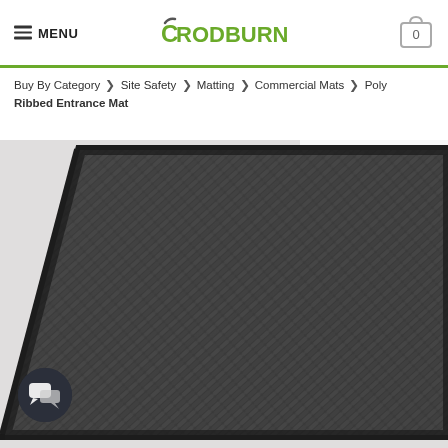MENU | RODBURN | 0
Buy By Category > Site Safety > Matting > Commercial Mats > Poly Ribbed Entrance Mat
[Figure (photo): Close-up photo of a dark grey/charcoal poly ribbed entrance mat with diagonal ribbed texture pattern and black rubber border, viewed from a corner perspective angle.]